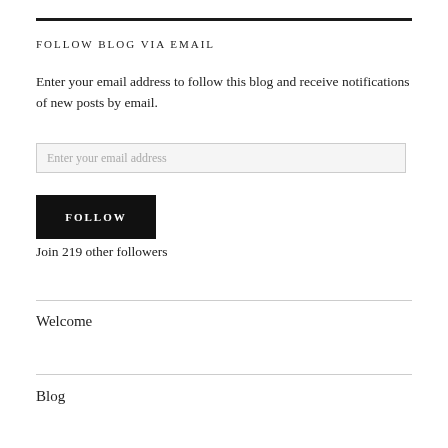FOLLOW BLOG VIA EMAIL
Enter your email address to follow this blog and receive notifications of new posts by email.
Enter your email address
FOLLOW
Join 219 other followers
Welcome
Blog